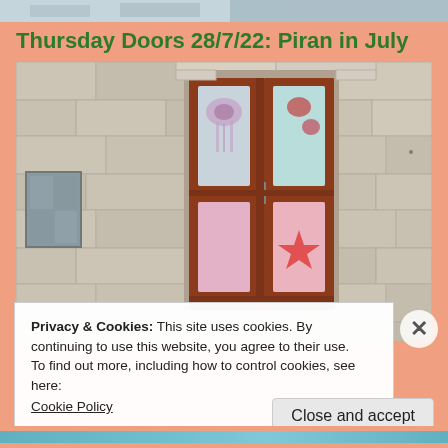[Figure (photo): Top cropped photo strip showing a building exterior]
Thursday Doors 28/7/22: Piran in July
[Figure (photo): Photograph of a double wooden door with decorative painted glass panels showing sea creatures (jellyfish, starfish) in pink and teal colors, set in a stone wall facade]
Privacy & Cookies: This site uses cookies. By continuing to use this website, you agree to their use.
To find out more, including how to control cookies, see here: Cookie Policy
Close and accept